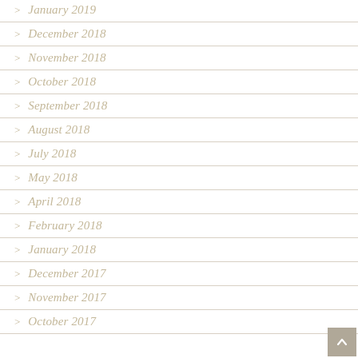January 2019
December 2018
November 2018
October 2018
September 2018
August 2018
July 2018
May 2018
April 2018
February 2018
January 2018
December 2017
November 2017
October 2017